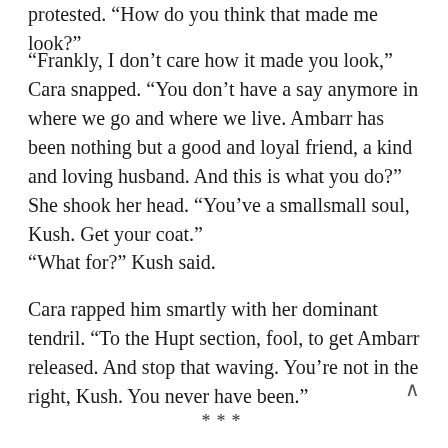protested. “How do you think that made me look?”
“Frankly, I don’t care how it made you look,” Cara snapped. “You don’t have a say anymore in where we go and where we live. Ambarr has been nothing but a good and loyal friend, a kind and loving husband. And this is what you do?” She shook her head. “You’ve a smallsmall soul, Kush. Get your coat.”
“What for?” Kush said.
Cara rapped him smartly with her dominant tendril. “To the Hupt section, fool, to get Ambarr released. And stop that waving. You’re not in the right, Kush. You never have been.”
***